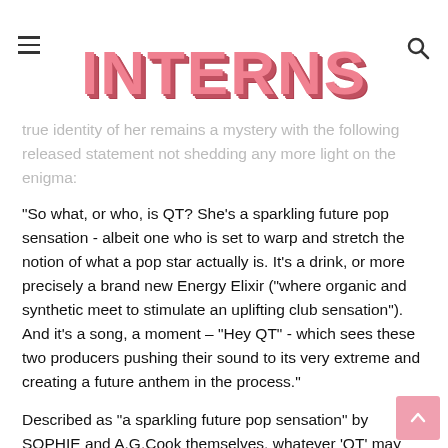INTERNS
true identity of her remains a mystery with the following released statement not shedding any more light on the enigma:
"So what, or who, is QT? She's a sparkling future pop sensation - albeit one who is set to warp and stretch the notion of what a pop star actually is. It's a drink, or more precisely a brand new Energy Elixir ("where organic and synthetic meet to stimulate an uplifting club sensation"). And it's a song, a moment – "Hey QT" - which sees these two producers pushing their sound to its very extreme and creating a future anthem in the process."
Described as "a sparkling future pop sensation" by SOPHIE and A.G.Cook themselves, whatever 'QT' may be, is sure to be sure making waves on the dancefloor in due time.
Listen to Hey QT below but we recommend you experience the full QT 'Elixir' experience here.